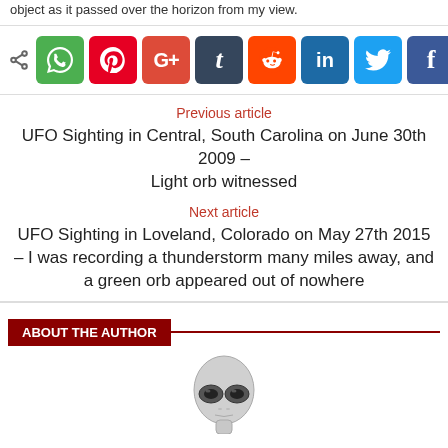object as it passed over the horizon from my view.
[Figure (infographic): Social share bar with icons for WhatsApp, Pinterest, Google+, Tumblr, Reddit, LinkedIn, Twitter, Facebook]
Previous article
UFO Sighting in Central, South Carolina on June 30th 2009 – Light orb witnessed
Next article
UFO Sighting in Loveland, Colorado on May 27th 2015 – I was recording a thunderstorm many miles away, and a green orb appeared out of nowhere
ABOUT THE AUTHOR
[Figure (illustration): Alien head illustration in gray tones]